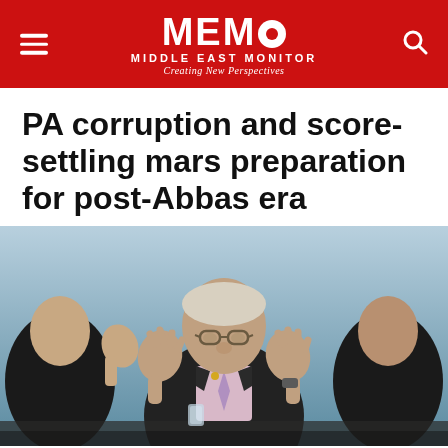MEMO MIDDLE EAST MONITOR — Creating New Perspectives
PA corruption and score-settling mars preparation for post-Abbas era
[Figure (photo): Palestinian Authority President Mahmoud Abbas seated at a conference table with hands raised, flanked by two other officials in suits, against a blue background.]